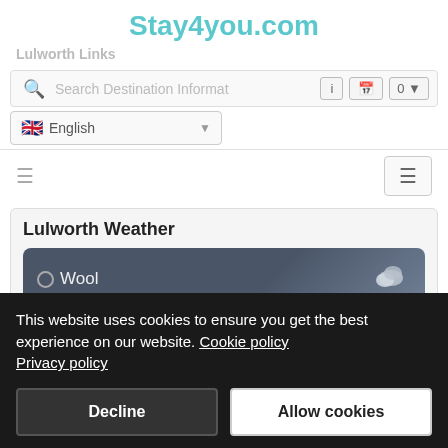Stay4you.com
Lulworth Links
[Figure (screenshot): Search bar with magnifier icon, placeholder text 'Search Destination Information', info button, calendar button, '0' filter button with dropdown arrow]
[Figure (screenshot): Language selector showing UK flag and 'English' with dropdown arrow]
[Figure (screenshot): Navigation row with hamburger menu icon on left and hamburger menu button on right]
Lulworth Weather
[Figure (screenshot): Dark weather widget showing location marker icon and 'Wool' text with cloud icon on right]
This website uses cookies to ensure you get the best experience on our website. Cookie policy Privacy policy
Decline
Allow cookies